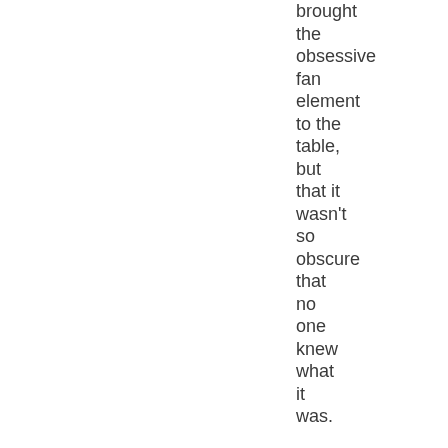brought the obsessive fan element to the table, but that it wasn't so obscure that no one knew what it was.

Bobby McFarrin got more applause